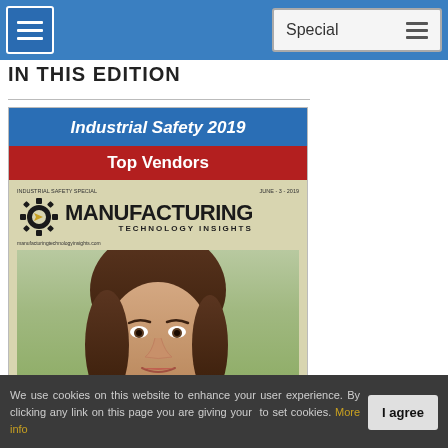Special
[Figure (illustration): Magazine cover for Manufacturing Technology Insights, Industrial Safety 2019 Top Vendors issue, showing a woman's face and the magazine logo with gear icon.]
We use cookies on this website to enhance your user experience. By clicking any link on this page you are giving your consent to set cookies. More info